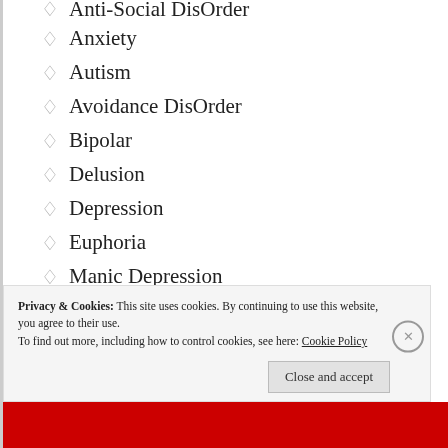Anti-Social DisOrder
Anxiety
Autism
Avoidance DisOrder
Bipolar
Delusion
Depression
Euphoria
Manic Depression
Moodiness
Multiple Personality DisOrder
Privacy & Cookies: This site uses cookies. By continuing to use this website, you agree to their use. To find out more, including how to control cookies, see here: Cookie Policy
Close and accept